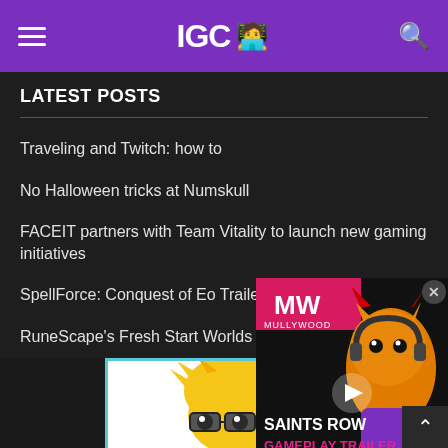IGC (logo with emoji)
LATEST POSTS
Traveling and Twitch: how to
No Halloween tricks at Numskull
FACEIT partners with Team Vitality to launch new gaming initiatives
SpellForce: Conquest of Eo Trailer Revealed
RuneScape's Fresh Start Worlds D…
[Figure (screenshot): Saints Row Gameplay Trailer video ad overlay with MullyWood MW logo, cat character with devil horns wearing headphones, play button, text SAINTS ROW GAMEPLAY TRAILER]
[Figure (illustration): Cartoon blonde character with glasses and yellow face on white background with blue border]